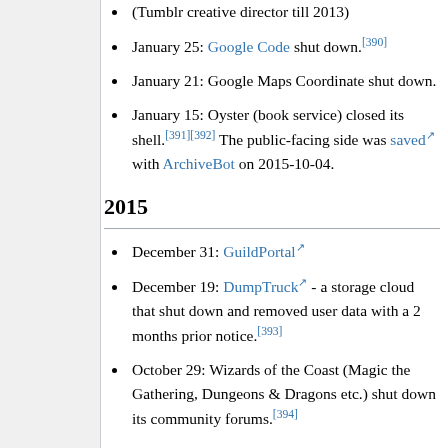(Tumblr creative director till 2013)
January 25: Google Code shut down.[390]
January 21: Google Maps Coordinate shut down.
January 15: Oyster (book service) closed its shell.[391][392] The public-facing side was saved with ArchiveBot on 2015-10-04.
2015
December 31: GuildPortal
December 19: DumpTruck - a storage cloud that shut down and removed user data with a 2 months prior notice.[393]
October 29: Wizards of the Coast (Magic the Gathering, Dungeons & Dragons etc.) shut down its community forums.[394]